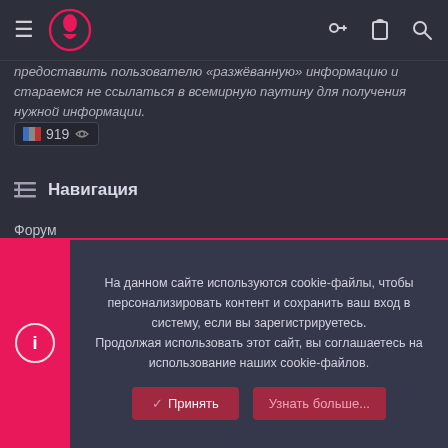≡ [logo] [key icon] [clipboard icon] [search icon]
предоставить пользователю "разжёванную" информацию и стараемся не ссылаться в всемирную паутину для получения нужной информации.
919
☰ Навигация
Форум
Группа PAWNO-CRMP.RU
Группа Define Studio
На данном сайте используются cookie-файлы, чтобы персонализировать контент и сохранить ваш вход в систему, если вы зарегистрируетесь.
Продолжая использовать этот сайт, вы соглашаетесь на использование наших cookie-файлов.
✓ Принять    Узнать больше...